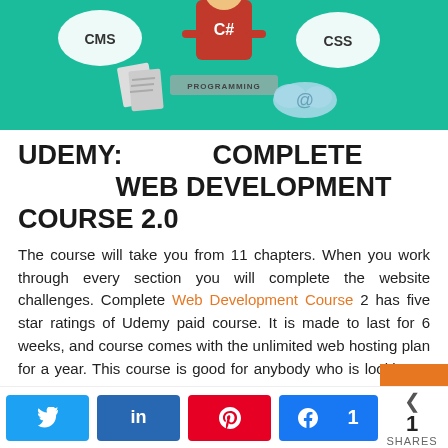[Figure (illustration): Teal/green banner with web development illustration: a person in a red shirt with C# logo, speech bubbles reading CMS and CSS, document icons, a keyboard labeled PROGRAMMING, and a cloud with @ symbol]
UDEMY: COMPLETE WEB DEVELOPMENT COURSE 2.0
The course will take you from 11 chapters. When you work through every section you will complete the website challenges. Complete Web Development Course 2 has five star ratings of Udemy paid course. It is made to last for 6 weeks, and course comes with the unlimited web hosting plan for a year. This course is good for anybody who is looking to increase their income just by learning the wide range of the web development skills.